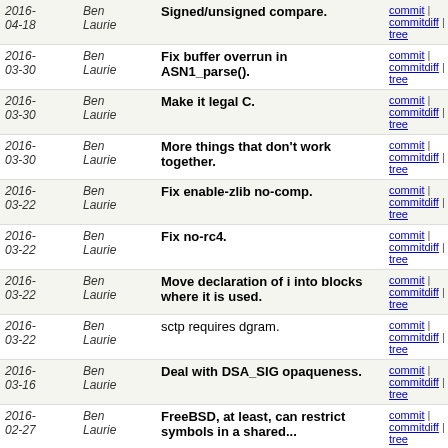| Date | Author | Message | Links |
| --- | --- | --- | --- |
| 2016-04-18 | Ben Laurie | Signed/unsigned compare. | commit | commitdiff | tree |
| 2016-03-30 | Ben Laurie | Fix buffer overrun in ASN1_parse(). | commit | commitdiff | tree |
| 2016-03-30 | Ben Laurie | Make it legal C. | commit | commitdiff | tree |
| 2016-03-30 | Ben Laurie | More things that don't work together. | commit | commitdiff | tree |
| 2016-03-22 | Ben Laurie | Fix enable-zlib no-comp. | commit | commitdiff | tree |
| 2016-03-22 | Ben Laurie | Fix no-rc4. | commit | commitdiff | tree |
| 2016-03-22 | Ben Laurie | Move declaration of i into blocks where it is used. | commit | commitdiff | tree |
| 2016-03-22 | Ben Laurie | sctp requires dgram. | commit | commitdiff | tree |
| 2016-03-16 | Ben Laurie | Deal with DSA_SIG opaqueness. | commit | commitdiff | tree |
| 2016-02-27 | Ben Laurie | FreeBSD, at least, can restrict symbols in a shared... | commit | commitdiff | tree |
| 2016-02-27 | Ben Laurie | testutil.c includes e_os.h. | commit | commitdiff | tree |
| 2016-02-20 | Ben Laurie | Remove OBJ_EXT and friends. | commit | commitdiff | tree |
| 2016-02-20 | Ben Laurie | Missing extension on dependency, .d file is not always... | commit | commitdiff | tree |